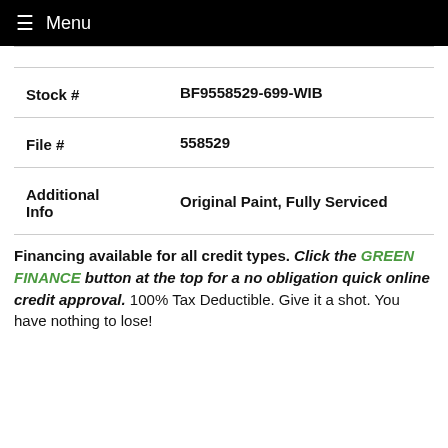≡ Menu
| Stock # | BF9558529-699-WIB |
| File # | 558529 |
| Additional Info | Original Paint, Fully Serviced |
Financing available for all credit types. Click the GREEN FINANCE button at the top for a no obligation quick online credit approval. 100% Tax Deductible. Give it a shot. You have nothing to lose!